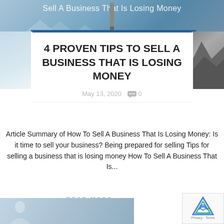[Figure (photo): Header banner image showing 'Sell A Business That Is Losing Money' with sky and rocks in background]
4 PROVEN TIPS TO SELL A BUSINESS THAT IS LOSING MONEY
May 13, 2020   0
Article Summary of How To Sell A Business That Is Losing Money: Is it time to sell your business? Being prepared for selling Tips for selling a business that is losing money How To Sell A Business That Is...
READ MORE